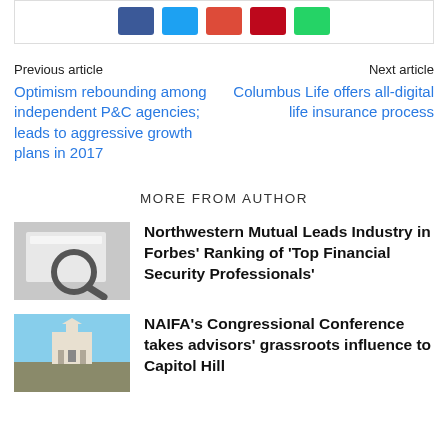[Figure (other): Social share buttons: Facebook (blue), Twitter (cyan), Google+ (red/orange), Pinterest (red), WhatsApp (green)]
Previous article
Next article
Optimism rebounding among independent P&C agencies; leads to aggressive growth plans in 2017
Columbus Life offers all-digital life insurance process
MORE FROM AUTHOR
[Figure (photo): Magnifying glass over a computer screen/browser]
Northwestern Mutual Leads Industry in Forbes’ Ranking of ‘Top Financial Security Professionals’
[Figure (photo): US Capitol building against blue sky]
NAIFA’s Congressional Conference takes advisors’ grassroots influence to Capitol Hill